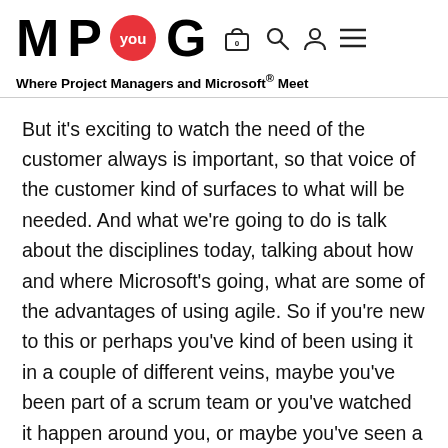M P you G — Where Project Managers and Microsoft® Meet
But it's exciting to watch the need of the customer always is important, so that voice of the customer kind of surfaces to what will be needed. And what we're going to do is talk about the disciplines today, talking about how and where Microsoft's going, what are some of the advantages of using agile. So if you're new to this or perhaps you've kind of been using it in a couple of different veins, maybe you've been part of a scrum team or you've watched it happen around you, or maybe you've seen a horrific implementation of an agile process, it isn't necessarily the methodology, but sometimes you have to think about your culture, the environment, and what you're trying to do. And I think this is what we'll be really [incredible 00:04:02] to sink